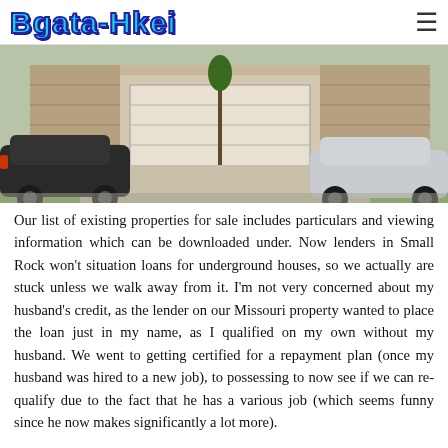Bgata-Hkei
[Figure (photo): Exterior photo of a residential house with driveway, garage door, and cars parked outside. A dark sedan is visible on the left and a light-colored car on the right, with green lawn visible.]
Our list of existing properties for sale includes particulars and viewing information which can be downloaded under. Now lenders in Small Rock won't situation loans for underground houses, so we actually are stuck unless we walk away from it. I'm not very concerned about my husband's credit, as the lender on our Missouri property wanted to place the loan just in my name, as I qualified on my own without my husband. We went to getting certified for a repayment plan (once my husband was hired to a new job), to possessing to now see if we can re-qualify due to the fact that he has a various job (which seems funny since he now makes significantly a lot more).